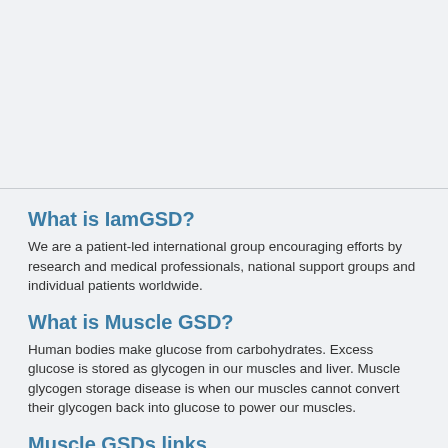What is IamGSD?
We are a patient-led international group encouraging efforts by research and medical professionals, national support groups and individual patients worldwide.
What is Muscle GSD?
Human bodies make glucose from carbohydrates. Excess glucose is stored as glycogen in our muscles and liver. Muscle glycogen storage disease is when our muscles cannot convert their glycogen back into glucose to power our muscles.
Muscle GSDs links